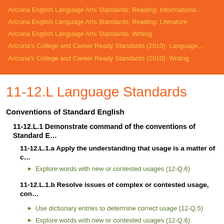Arizona English Language Arts Standards: Reading: Informational
Arizona English Language Arts Standards: Reading: Literature
Arizona English Language Arts Standards: Writing
Arizona's College and Career Ready Standards (2010): Language
Arizona's College and Career Ready Standards (2010): Writing
11-12.L Language Standards
Conventions of Standard English
11-12.L.1 Demonstrate command of the conventions of Standard E
11-12.L.1.a Apply the understanding that usage is a matter of c
Explore words with new or contested usages (12-Q.6)
11-12.L.1.b Resolve issues of complex or contested usage, con
Use dictionary entries to determine correct usage (12-Q.5)
Explore words with new or contested usages (12-Q.6)